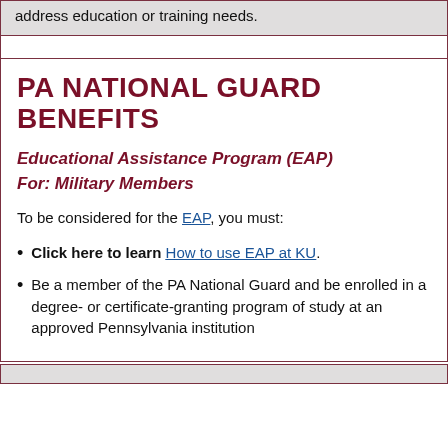address education or training needs.
PA NATIONAL GUARD BENEFITS
Educational Assistance Program (EAP)
For: Military Members
To be considered for the EAP, you must:
Click here to learn How to use EAP at KU.
Be a member of the PA National Guard and be enrolled in a degree- or certificate-granting program of study at an approved Pennsylvania institution